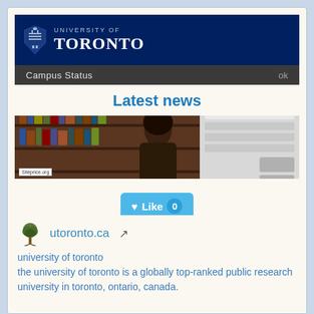[Figure (screenshot): University of Toronto website screenshot showing the UofT logo banner with dark blue background and 'UNIVERSITY OF TORONTO' text, a Campus Status bar, a Latest news heading, a photo of a person in front of a bookshelf, a Like button with count 0, and a Scroll Top link]
university of toronto
the university of toronto is a globally top-ranked public research university in toronto, ontario, canada.